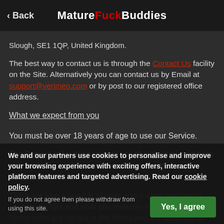← Back   MatureFuckBuddies
Slough, SE1 1QP, United Kingdom.
The best way to contact us is through the Contact Us facility on the Site. Alternatively you can contact us by Email at support@verimeo.com or by post to our registered office address.
What we expect from you
You must be over 18 years of age to use our Service.
The Service is for the personal use of individual members only and may not be used in connection with any business.
There are also a number of rules about what you cannot post on the Site and what you may use the Services for. These rules are set out in the Terms and are designed to help protect the safety and security of members and to ensure that everyone can enjoy the Services. It is important that you abide by these rules...
We and our partners use cookies to personalise and improve your browsing experience with exciting offers, interactive platform features and targeted advertising. Read our cookie policy.
If you do not agree then please withdraw from using this site.